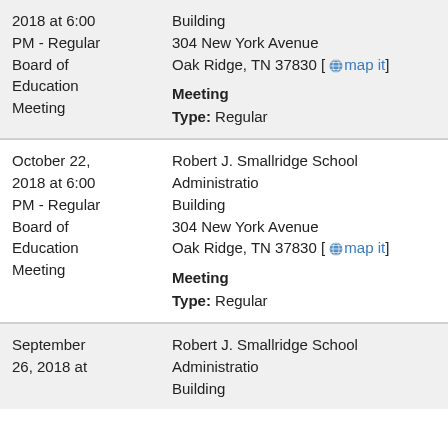2018 at 6:00 PM - Regular Board of Education Meeting
Location: Robert J. Smallridge School Administration Building, 304 New York Avenue, Oak Ridge, TN 37830
Meeting Type: Regular
October 22, 2018 at 6:00 PM - Regular Board of Education Meeting
Location: Robert J. Smallridge School Administration Building, 304 New York Avenue, Oak Ridge, TN 37830
Meeting Type: Regular
September 26, 2018 at ... Robert J. Smallridge School Administration Building